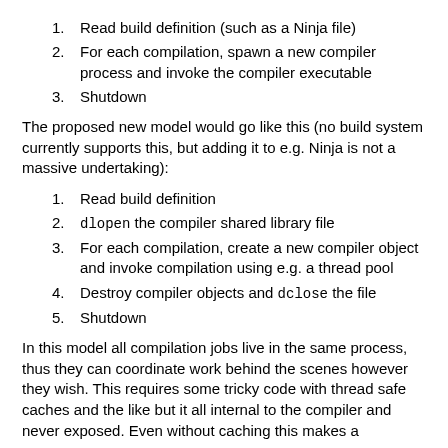1. Read build definition (such as a Ninja file)
2. For each compilation, spawn a new compiler process and invoke the compiler executable
3. Shutdown
The proposed new model would go like this (no build system currently supports this, but adding it to e.g. Ninja is not a massive undertaking):
1. Read build definition
2. dlopen the compiler shared library file
3. For each compilation, create a new compiler object and invoke compilation using e.g. a thread pool
4. Destroy compiler objects and dclose the file
5. Shutdown
In this model all compilation jobs live in the same process, thus they can coordinate work behind the scenes however they wish. This requires some tricky code with thread safe caches and the like but it all internal to the compiler and never exposed. Even without caching this makes a